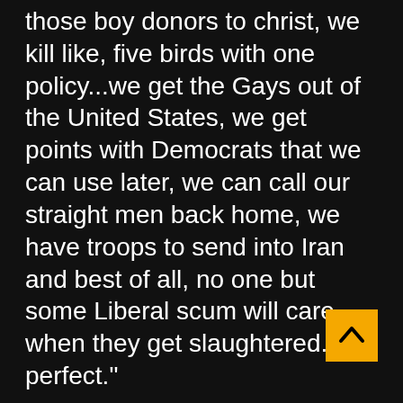those boy donors to christ, we kill like, five birds with one policy...we get the Gays out of the United States, we get points with Democrats that we can use later, we can call our straight men back home, we have troops to send into Iran and best of all, no one but some Liberal scum will care when they get slaughtered. It’s perfect.”
Pentagon officials have already begun to make accommodations for the new ‘Daisy Divisions’, calling on popular television personalities the Fab Five from Queer Eye for the Straight Guy to design new uniforms and barracks space; after all,